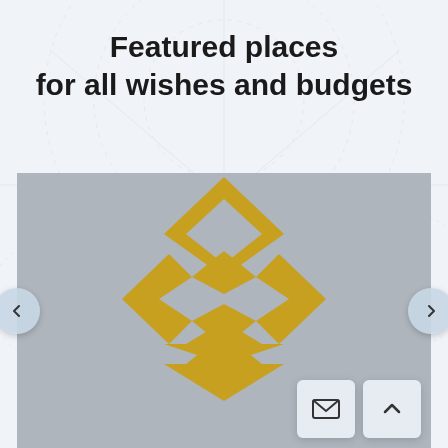Featured places for all wishes and budgets
[Figure (screenshot): Image carousel placeholder showing a gold diamond/compass logo on a gray background, with left and right navigation arrows and two action buttons (email and scroll-to-top) in the bottom right corner.]